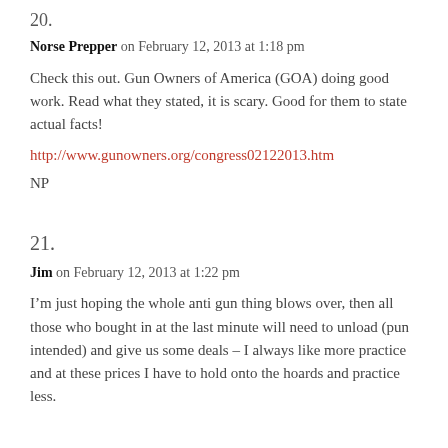20.
Norse Prepper on February 12, 2013 at 1:18 pm
Check this out. Gun Owners of America (GOA) doing good work. Read what they stated, it is scary. Good for them to state actual facts!
http://www.gunowners.org/congress02122013.htm
NP
21.
Jim on February 12, 2013 at 1:22 pm
I’m just hoping the whole anti gun thing blows over, then all those who bought in at the last minute will need to unload (pun intended) and give us some deals – I always like more practice and at these prices I have to hold onto the hoards and practice less.